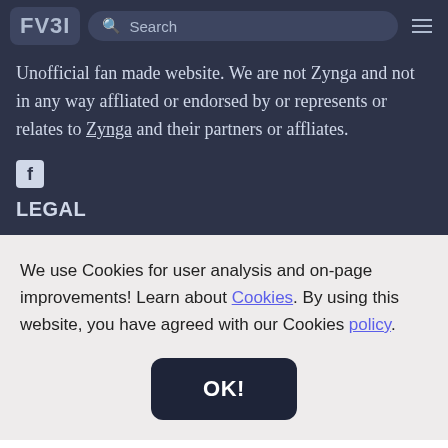FV3I [logo] Search [hamburger menu]
Unofficial fan made website. We are not Zynga and not in any way affliated or endorsed by or represents or relates to Zynga and their partners or affliates.
[Figure (logo): Facebook icon (white f on dark square background)]
LEGAL
We use Cookies for user analysis and on-page improvements! Learn about Cookies. By using this website, you have agreed with our Cookies policy.
OK!